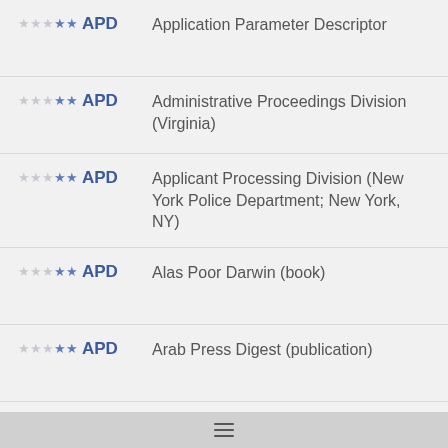APD — Application Parameter Descriptor
APD — Administrative Proceedings Division (Virginia)
APD — Applicant Processing Division (New York Police Department; New York, NY)
APD — Alas Poor Darwin (book)
APD — Arab Press Digest (publication)
APD — Anti Pit Device (Robot Wars, game)
APD — American Poetry Database
APD — Arcata Police Department